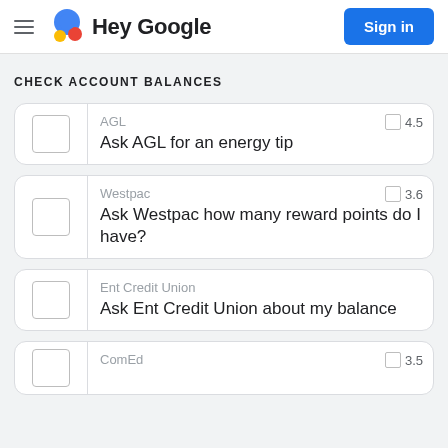Hey Google | Sign in
CHECK ACCOUNT BALANCES
AGL
Ask AGL for an energy tip
4.5
Westpac
Ask Westpac how many reward points do I have?
3.6
Ent Credit Union
Ask Ent Credit Union about my balance
ComEd
3.5